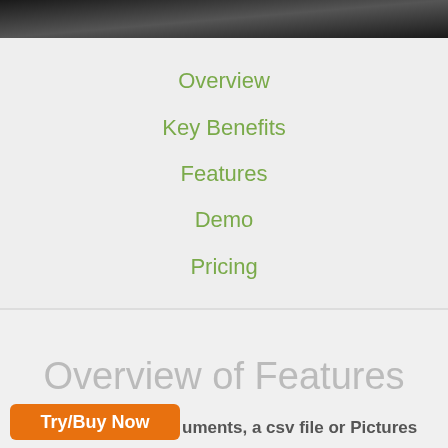[Figure (screenshot): Dark navigation bar at top of page]
Overview
Key Benefits
Features
Demo
Pricing
Overview of Features
Try/Buy Now
uments, a csv file or Pictures